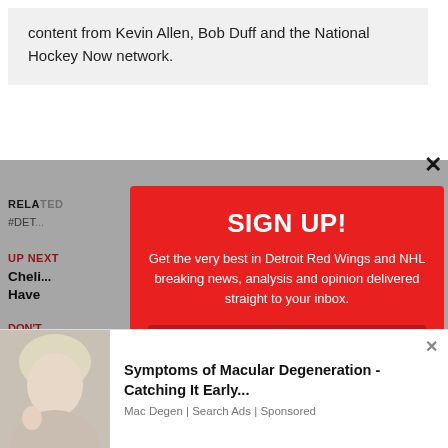content from Kevin Allen, Bob Duff and the National Hockey Now network.
RELATED
#DET
UP NEXT
Cheli... Have
DON'T
Allen... Jack
[Figure (screenshot): Red popup modal overlay with SIGN UP! heading, newsletter signup text about Detroit Red Wings and NHL news, and an email input field]
[Figure (screenshot): Bottom advertisement banner with photo of blonde woman and text about Symptoms of Macular Degeneration from Mac Degen Search Ads]